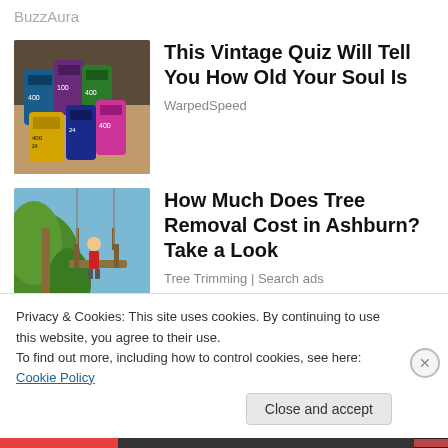BuzzAura
[Figure (photo): Hand holding multiple colorful 35mm film rolls (400 ISO, 24 exp, etc.)]
This Vintage Quiz Will Tell You How Old Your Soul Is
WarpedSpeed
[Figure (photo): Worker on an elevated platform trimming tall palm trees against a blue sky]
How Much Does Tree Removal Cost in Ashburn? Take a Look
Tree Trimming | Search ads
Privacy & Cookies: This site uses cookies. By continuing to use this website, you agree to their use.
To find out more, including how to control cookies, see here: Cookie Policy
Close and accept